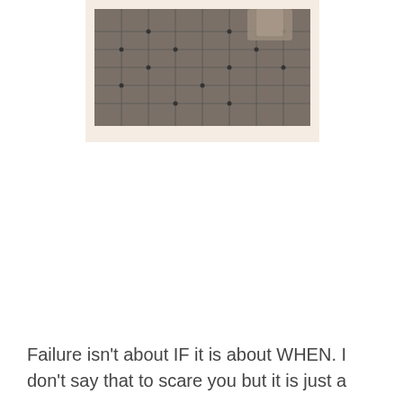[Figure (photo): A photo with a beige/cream border (polaroid-style) showing what appears to be a concrete floor with a wire mesh/rebar grid pattern and some objects visible.]
Failure isn't about IF it is about WHEN. I don't say that to scare you but it is just a